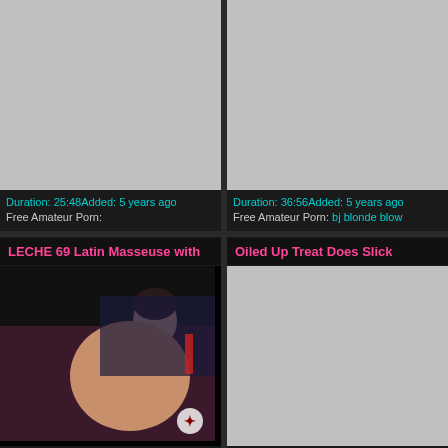[Figure (photo): Gray placeholder thumbnail for video 1]
Duration: 25:48Added: 5 years ago Free Amateur Porn:
[Figure (photo): Gray placeholder thumbnail for video 2]
Duration: 36:56Added: 5 years ago Free Amateur Porn: bj blonde blow
LECHE 69 Latin Masseuse with
Oiled Up Treat Does Slick
[Figure (photo): Video still showing a woman, dark background]
[Figure (photo): Gray placeholder thumbnail for video 4]